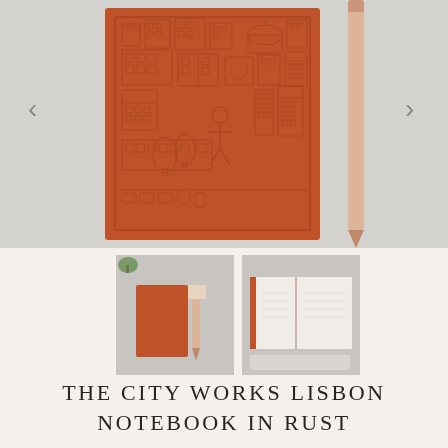[Figure (photo): Main product photo showing an orange/rust-colored notebook with embossed city pattern (The City Works Lisbon) laid flat on a gray surface, with a peach/tan pencil alongside it to the right. Navigation arrows (< and >) are visible on left and right sides.]
[Figure (photo): Thumbnail image 1: Orange/rust notebook cover shown standing upright next to a pencil and eraser, on a gray background, with a small plant visible at top.]
[Figure (photo): Thumbnail image 2: The notebook shown open, displaying blank cream pages with an orange/rust spine, on a gray background.]
THE CITY WORKS LISBON NOTEBOOK IN RUST